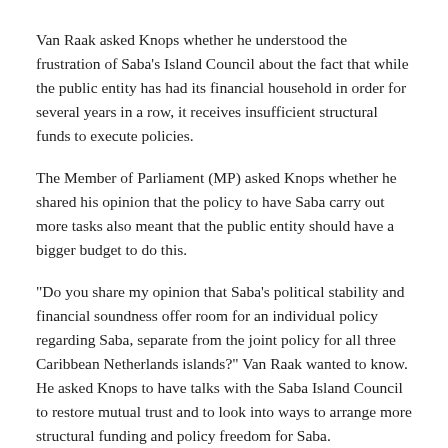Van Raak asked Knops whether he understood the frustration of Saba's Island Council about the fact that while the public entity has had its financial household in order for several years in a row, it receives insufficient structural funds to execute policies.
The Member of Parliament (MP) asked Knops whether he shared his opinion that the policy to have Saba carry out more tasks also meant that the public entity should have a bigger budget to do this.
“Do you share my opinion that Saba’s political stability and financial soundness offer room for an individual policy regarding Saba, separate from the joint policy for all three Caribbean Netherlands islands?” Van Raak wanted to know. He asked Knops to have talks with the Saba Island Council to restore mutual trust and to look into ways to arrange more structural funding and policy freedom for Saba.
“I understand Saba’s frustration. I am frustrated too about this matter, and so are many Members of the Second Chamber. The Minister has to act and make sure that we can live up to the promises